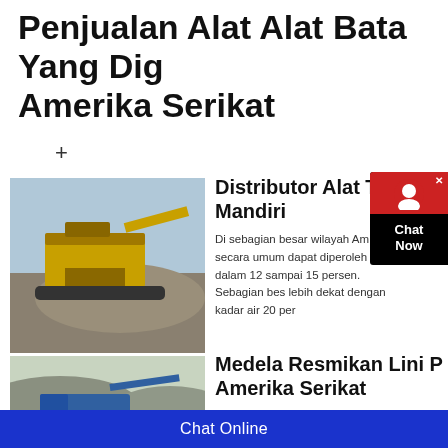Penjualan Alat Alat Bata Yang Dig Amerika Serikat
+
[Figure (photo): Yellow heavy mining/crushing machinery on gravel mound with sky background]
Distributor Alat Test Mandiri
Di sebagian besar wilayah Am secara umum dapat diperoleh dalam 12 sampai 15 persen. Sebagian bes lebih dekat dengan kadar air 20 per
[Figure (photo): Blue truck on earthen terrain with hillside in background]
Medela Resmikan Lini P Amerika Serikat
2020-5-19   Medela memiliki 21 ana Amerika, Timur Tengah, Asia, serta
Chat Online